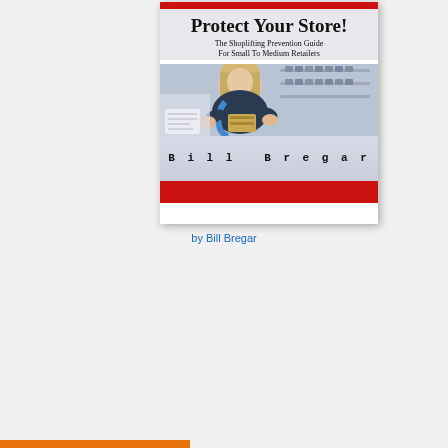[Figure (illustration): Book cover for 'Protect Your Store! The Shoplifting Prevention Guide For Small To Medium Retailers' by Bill Bregar. Cover shows a woman concealing items in a tote bag in a retail store. Red bar at top and bottom of cover.]
by Bill Bregar